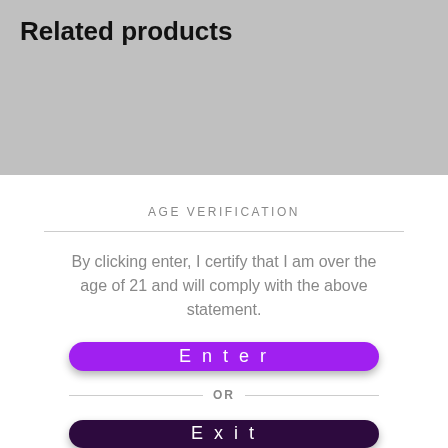Related products
[Figure (other): Gray background placeholder area for related products]
AGE VERIFICATION
By clicking enter, I certify that I am over the age of 21 and will comply with the above statement.
Enter
OR
Exit